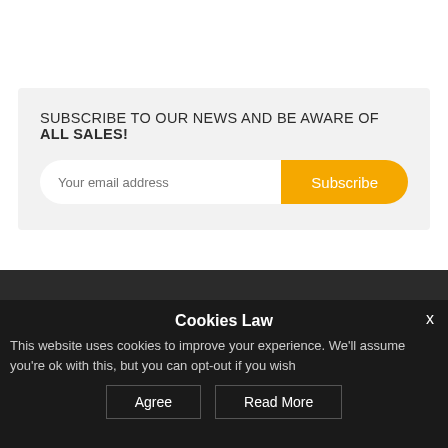SUBSCRIBE TO OUR NEWS AND BE AWARE OF ALL SALES!
Your email address
Subscribe
About us
Your account
Store Address
Cookies Law
This website uses cookies to improve your experience. We'll assume you're ok with this, but you can opt-out if you wish
Agree
Read More